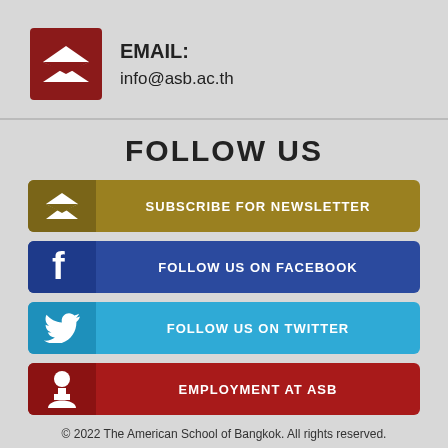[Figure (infographic): Red square icon with white envelope/email symbol]
EMAIL:
info@asb.ac.th
FOLLOW US
[Figure (infographic): Gold button with envelope icon: SUBSCRIBE FOR NEWSLETTER]
[Figure (infographic): Blue button with Facebook icon: FOLLOW US ON FACEBOOK]
[Figure (infographic): Light blue button with Twitter icon: FOLLOW US ON TWITTER]
[Figure (infographic): Red button with person/employee icon: EMPLOYMENT AT ASB]
© 2022 The American School of Bangkok. All rights reserved.